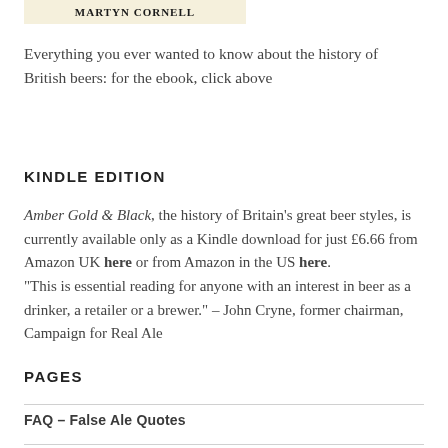[Figure (other): Book cover banner showing 'MARTYN CORNELL' text on a cream/yellow background]
Everything you ever wanted to know about the history of British beers: for the ebook, click above
KINDLE EDITION
Amber Gold & Black, the history of Britain's great beer styles, is currently available only as a Kindle download for just £6.66 from Amazon UK here or from Amazon in the US here. "This is essential reading for anyone with an interest in beer as a drinker, a retailer or a brewer." – John Cryne, former chairman, Campaign for Real Ale
PAGES
FAQ – False Ale Quotes